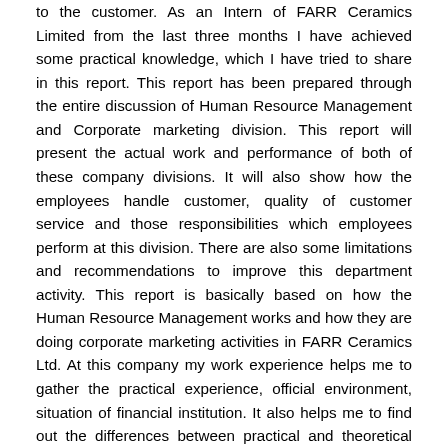to the customer. As an Intern of FARR Ceramics Limited from the last three months I have achieved some practical knowledge, which I have tried to share in this report. This report has been prepared through the entire discussion of Human Resource Management and Corporate marketing division. This report will present the actual work and performance of both of these company divisions. It will also show how the employees handle customer, quality of customer service and those responsibilities which employees perform at this division. There are also some limitations and recommendations to improve this department activity. This report is basically based on how the Human Resource Management works and how they are doing corporate marketing activities in FARR Ceramics Ltd. At this company my work experience helps me to gather the practical experience, official environment, situation of financial institution. It also helps me to find out the differences between practical and theoretical knowledge. It also gives me the opportunity to implement my theoretical in the practical and realistic work environment. To make this internship report this experience helped me a lot and also at this time I was able to analyze the activities deeply, which will help me in my future career. At last I just want to say that, I tried to make this report valuable, authentic and understandable which can easily give an idea about the ceramic industry to the other and avoiding mistakes and errors.